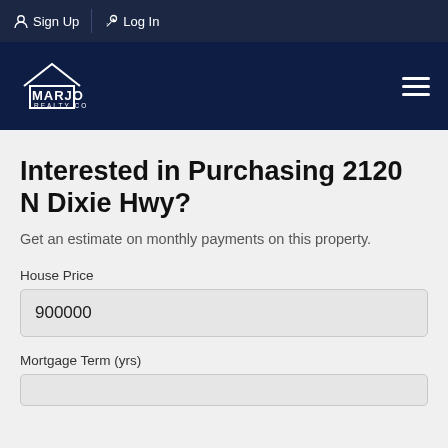Sign Up  Log In
[Figure (logo): Marjo Realty Co. logo with house outline in white on dark navy background]
Interested in Purchasing 2120 N Dixie Hwy?
Get an estimate on monthly payments on this property.
House Price
900000
Mortgage Term (yrs)